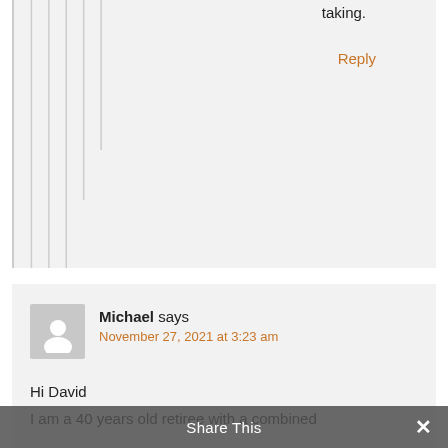taking.
Reply
Michael says
November 27, 2021 at 3:23 am
Hi David
I am a 40 years old retiree with a combined
Share This
✕